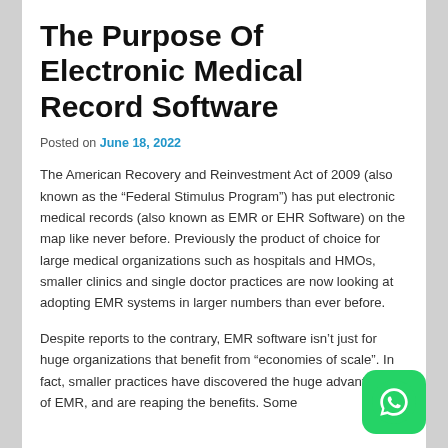The Purpose Of Electronic Medical Record Software
Posted on June 18, 2022
The American Recovery and Reinvestment Act of 2009 (also known as the “Federal Stimulus Program”) has put electronic medical records (also known as EMR or EHR Software) on the map like never before. Previously the product of choice for large medical organizations such as hospitals and HMOs, smaller clinics and single doctor practices are now looking at adopting EMR systems in larger numbers than ever before.
Despite reports to the contrary, EMR software isn’t just for huge organizations that benefit from “economies of scale”. In fact, smaller practices have discovered the huge advantages of EMR, and are reaping the benefits. Some